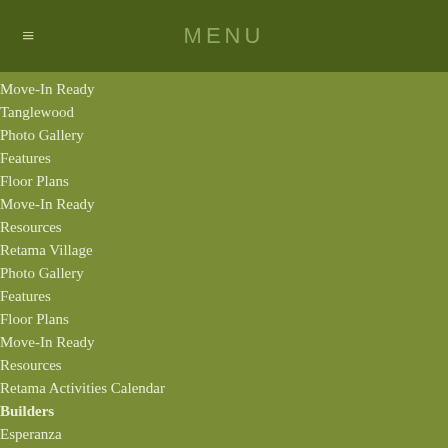MENU
Move-In Ready
Tanglewood
Photo Gallery
Features
Floor Plans
Move-In Ready
Resources
Retama Village
Photo Gallery
Features
Floor Plans
Move-In Ready
Resources
Retama Activities Calendar
Builders
Esperanza
Resources
HOA
Resident Portal
Financials
Covenants
Board of Directors
Active Adult